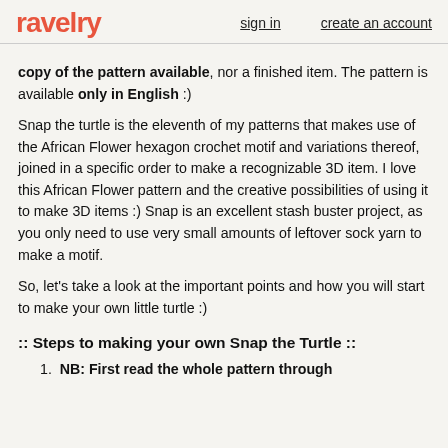ravelry   sign in   create an account
copy of the pattern available, nor a finished item. The pattern is available only in English :)
Snap the turtle is the eleventh of my patterns that makes use of the African Flower hexagon crochet motif and variations thereof, joined in a specific order to make a recognizable 3D item. I love this African Flower pattern and the creative possibilities of using it to make 3D items :) Snap is an excellent stash buster project, as you only need to use very small amounts of leftover sock yarn to make a motif.
So, let’s take a look at the important points and how you will start to make your own little turtle :)
:: Steps to making your own Snap the Turtle ::
NB: First read the whole pattern through